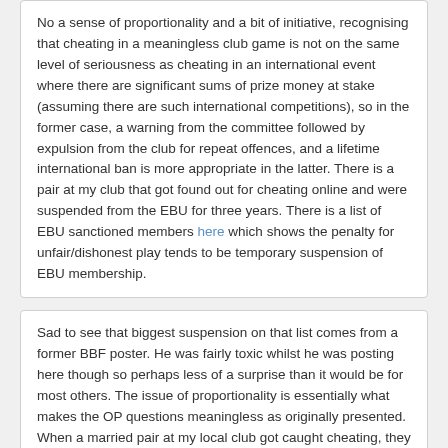No a sense of proportionality and a bit of initiative, recognising that cheating in a meaningless club game is not on the same level of seriousness as cheating in an international event where there are significant sums of prize money at stake (assuming there are such international competitions), so in the former case, a warning from the committee followed by expulsion from the club for repeat offences, and a lifetime international ban is more appropriate in the latter. There is a pair at my club that got found out for cheating online and were suspended from the EBU for three years. There is a list of EBU sanctioned members here which shows the penalty for unfair/dishonest play tends to be temporary suspension of EBU membership.
Sad to see that biggest suspension on that list comes from a former BBF poster. He was fairly toxic whilst he was posting here though so perhaps less of a surprise than it would be for most others. The issue of proportionality is essentially what makes the OP questions meaningless as originally presented. When a married pair at my local club got caught cheating, they just got banned from virtual club tournaments without it going further. My guess would be that there are some additional cases of that nature that did not make it as far as the EBU sanctioned list.
J Bengtsson